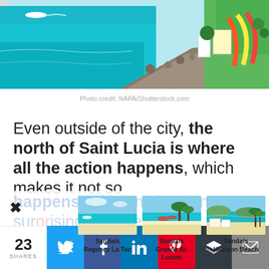[Figure (photo): Aerial view of Saint Lucia coastline with turquoise water, rocky jetty, and colorful waterslides/park on the right side]
Photo credit: NAPA/Shutterstock.com
Even outside of the city, the north of Saint Lucia is where all the action happens, which makes it not so...
[Figure (photo): Sandals Regency La Toc - aerial view of beach resort with turquoise water]
Sandals Regency La Toc
[Figure (photo): Sandals Grande St. Lucian - aerial view of beach and palm trees]
Sandals Grande St. Lucian
[Figure (photo): Sandals Halcyon Beach - aerial view of beach with clear water and palm trees]
Sandals Halcyon Beach
23 SHARES